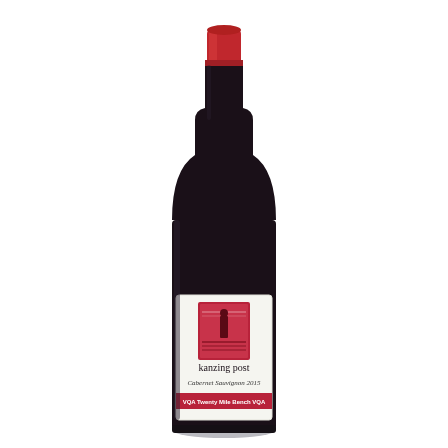[Figure (photo): A wine bottle with a dark (nearly black) body and a red foil capsule at the top. The bottle has a white label featuring a red-framed illustration of a figure standing in a vineyard landscape, with the winery name 'kanzing post' in lowercase serif text, 'Cabernet Sauvignon 2015' in italic script below, and a red banner at the bottom reading 'VQA Twenty Mile Bench VQA'.]